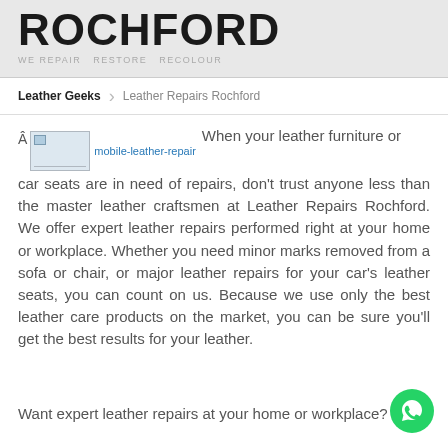ROCHFORD
Leather Geeks > Leather Repairs Rochford
[Figure (illustration): Broken image placeholder labeled 'mobile-leather-repair' in blue link text]
When your leather furniture or car seats are in need of repairs, don't trust anyone less than the master leather craftsmen at Leather Repairs Rochford. We offer expert leather repairs performed right at your home or workplace. Whether you need minor marks removed from a sofa or chair, or major leather repairs for your car's leather seats, you can count on us. Because we use only the best leather care products on the market, you can be sure you'll get the best results for your leather.
Want expert leather repairs at your home or workplace? Call